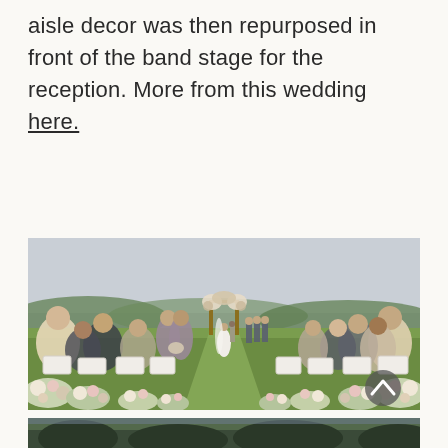aisle decor was then repurposed in front of the band stage for the reception. More from this wedding here.
[Figure (photo): Outdoor wedding ceremony on a grass aisle lined with lush floral arrangements. Bride in white gown with long veil walking toward the altar arch decorated with flowers. Guests seated on white chairs on both sides. Groomsmen in grey suits standing at the altar. Trees and rolling hills visible in the background under an overcast sky. A scroll-up navigation button visible in lower right of image.]
[Figure (photo): Partial view of a second photo showing trees and landscape, cropped at bottom of page.]